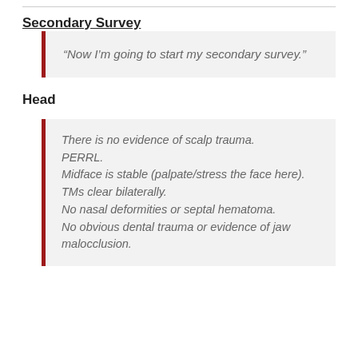Secondary Survey
“Now I’m going to start my secondary survey.”
Head
There is no evidence of scalp trauma.
PERRL.
Midface is stable (palpate/stress the face here).
TMs clear bilaterally.
No nasal deformities or septal hematoma.
No obvious dental trauma or evidence of jaw malocclusion.